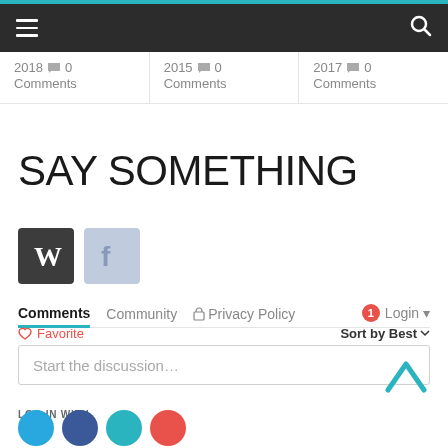Navigation bar with menu and search icons
2018  0 Comments
2015  0 Comments
2017  0 Comments
SAY SOMETHING
[Figure (screenshot): Social login icons: W (WordPress dark square) and f (Facebook light blue square)]
Comments  Community  Privacy Policy  1  Login
Favorite  Sort by Best
Start the discussion…
LOG IN WITH
[Figure (screenshot): Social login circles: Twitter (blue), Facebook (dark blue), Google/teal, Disqus (red)]